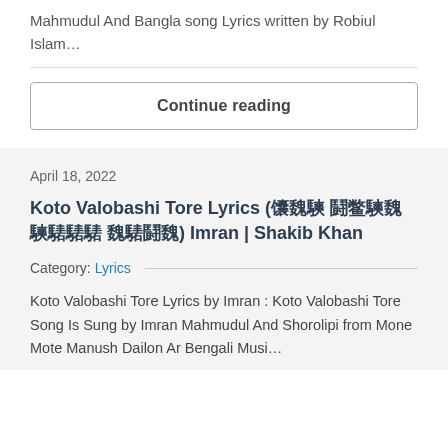Mahmudul And Bangla song Lyrics written by Robiul Islam…
Continue reading
April 18, 2022
Koto Valobashi Tore Lyrics (কতো ভালোবাসি তোরে) Imran | Shakib Khan
Category: Lyrics
Koto Valobashi Tore Lyrics by Imran : Koto Valobashi Tore Song Is Sung by Imran Mahmudul And Shorolipi from Mone Mote Manush Dailon Ar Bengali Music…